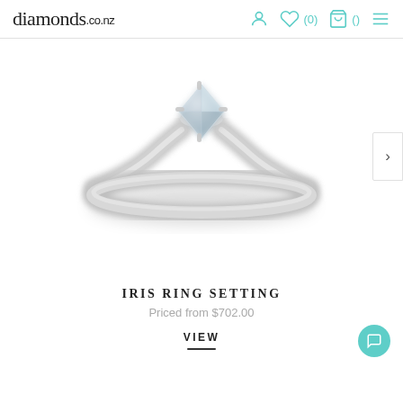diamonds.co.nz  ♡(0)  🛒()  ≡
[Figure (photo): A silver/white gold solitaire diamond ring (Iris Ring Setting) photographed on a white background. The ring features a marquise or princess-cut diamond in a prong setting, with a simple thin band. The image has a soft, slightly blurred quality.]
IRIS RING SETTING
Priced from $702.00
VIEW